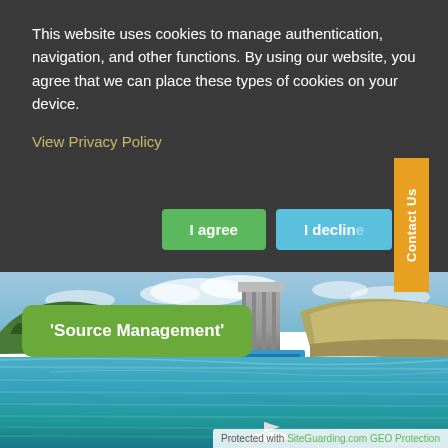This website uses cookies to manage authentication, navigation, and other functions. By using our website, you agree that we can place these types of cookies on your device.
View Privacy Policy
I agree
I decline
Contact Us
[Figure (photo): Aerial/ground-level photograph of a reservoir or water management facility showing a dam tower structure, a blue barrier dock, surrounding green hills and trees, with blue-green water in the foreground. A small boat is visible in the lower center.]
'Source Management'
Protected with SiteGuarding.com GEO Protection